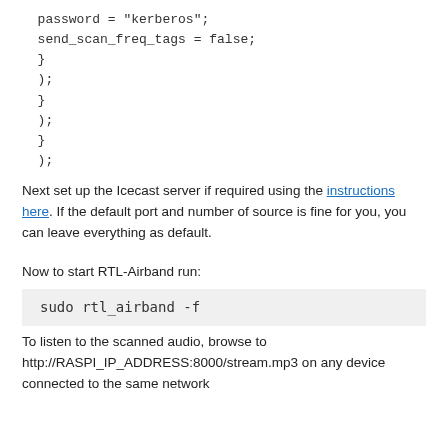password = "kerberos";
send_scan_freq_tags = false;
}
);
}
);
}
);
Next set up the Icecast server if required using the instructions here. If the default port and number of source is fine for you, you can leave everything as default.
Now to start RTL-Airband run:
sudo rtl_airband -f
To listen to the scanned audio, browse to http://RASPI_IP_ADDRESS:8000/stream.mp3 on any device connected to the same network